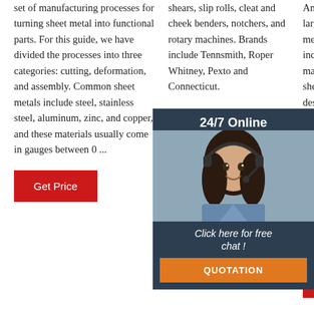set of manufacturing processes for turning sheet metal into functional parts. For this guide, we have divided the processes into three categories: cutting, deformation, and assembly. Common sheet metals include steel, stainless steel, aluminum, zinc, and copper, and these materials usually come in gauges between 0 ...
[Figure (other): Red 'Get Price' button at bottom of column 1]
shears, slip rolls, cleat and cheek benders, notchers, and rotary machines. Brands include Tennsmith, Roper Whitney, Pexto and Connecticut.
[Figure (other): Red 'Get Price' button in column 2]
Amada. Amada Co,. Ltd. is a large Japanese manufacturer of metal fabrication equipment including machine tools manufactured for cutting, shearing, punching. It also designs automation and electronic equipment in addition to machine tools.
[Figure (other): Chat widget overlay: 24/7 Online banner, customer service photo, 'Click here for free chat!' text, QUOTATION button]
[Figure (other): TOP badge with orange dots and red TOP text]
[Figure (other): Red 'Get Price' button in column 3]